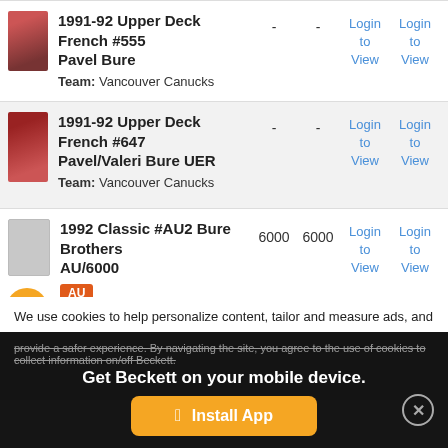1991-92 Upper Deck French #555 Pavel Bure | Team: Vancouver Canucks | - | - | Login to View | Login to View
1991-92 Upper Deck French #647 Pavel/Valeri Bure UER | Team: Vancouver Canucks | - | - | Login to View | Login to View
1992 Classic #AU2 Bure Brothers AU/6000 | AU | 6000 | 6000 | Login to View | Login to View
1992 Finnish Semic #116 Pavel Bure | - | - | Login to | Login to
We use cookies to help personalize content, tailor and measure ads, and provide a safer experience. By navigating the site, you agree to the use of cookies to collect information on/off Beckett.
Get Beckett on your mobile device.
Install App